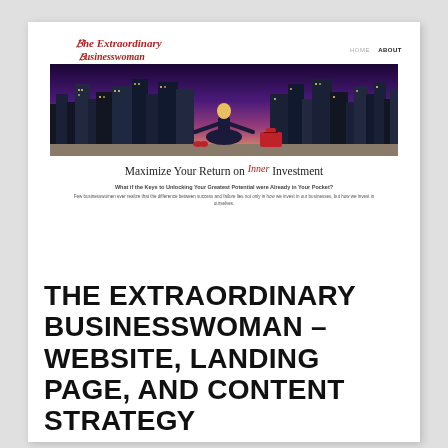[Figure (screenshot): Screenshot of 'The Extraordinary Businesswoman' website showing a hero image of a woman meditating in front of a city skyline at dusk, with the tagline 'Maximize Your Return on Inner Investment' and navigation links HOME and ABOUT.]
THE EXTRAORDINARY BUSINESSWOMAN – WEBSITE, LANDING PAGE, AND CONTENT STRATEGY